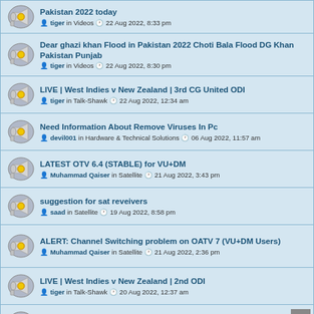Pakistan 2022 today | tiger in Videos | 22 Aug 2022, 8:33 pm
Dear ghazi khan Flood in Pakistan 2022 Choti Bala Flood DG Khan Pakistan Punjab | tiger in Videos | 22 Aug 2022, 8:30 pm
LIVE | West Indies v New Zealand | 3rd CG United ODI | tiger in Talk-Shawk | 22 Aug 2022, 12:34 am
Need Information About Remove Viruses In Pc | devil001 in Hardware & Technical Solutions | 06 Aug 2022, 11:57 am
LATEST OTV 6.4 (STABLE) for VU+DM | Muhammad Qaiser in Satellite | 21 Aug 2022, 3:43 pm
suggestion for sat reveivers | saad in Satellite | 19 Aug 2022, 8:58 pm
ALERT: Channel Switching problem on OATV 7 (VU+DM Users) | Muhammad Qaiser in Satellite | 21 Aug 2022, 2:36 pm
LIVE | West Indies v New Zealand | 2nd ODI | tiger in Talk-Shawk | 20 Aug 2022, 12:37 am
Sleepy Hollow - All time fav. | Muhammad Qaiser in Satellite | 18 Aug 2022, 6:06 pm
D2H | jamalnasir4242 in Satellite | 27 Mar 2022, 10:55 pm